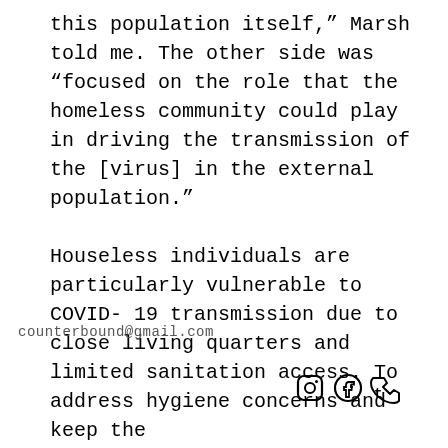this population itself,” Marsh told me. The other side was “focused on the role that the homeless community could play in driving the transmission of the [virus] in the external population.”

Houseless individuals are particularly vulnerable to COVID-19 transmission due to close living quarters and limited sanitation access. To address hygiene concerns and keep the houseless community on the Greenway, staff from City of Medford, Jackson County, and
counterbound@gmail.com